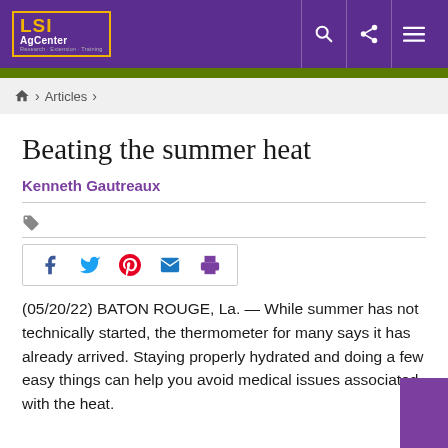LSU AgCenter — site header with search, share, and menu icons
Articles
Beating the summer heat
Kenneth Gautreaux
[Figure (infographic): Social share icons: Facebook, Twitter, Pinterest, Email, Print]
(05/20/22) BATON ROUGE, La. — While summer has not technically started, the thermometer for many says it has already arrived. Staying properly hydrated and doing a few easy things can help you avoid medical issues associated with the heat.